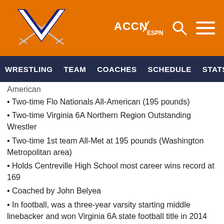[Figure (logo): University of Virginia and ACCN ESPN header with orange background, UVA V sabers logo on left, ACCN ESPN logo, search icon, and menu icon on right]
WRESTLING   TEAM   COACHES   SCHEDULE   STATS (PDF)   NE
American
• Two-time Flo Nationals All-American (195 pounds)
• Two-time Virginia 6A Northern Region Outstanding Wrestler
• Two-time 1st team All-Met at 195 pounds (Washington Metropolitan area)
• Holds Centreville High School most career wins record at 169
• Coached by John Belyea
• In football, was a three-year varsity starting middle linebacker and won Virginia 6A state football title in 2014 and was state runner-up in 2015
• Two-time first-team Virginia 6A All-State Linebacker, and